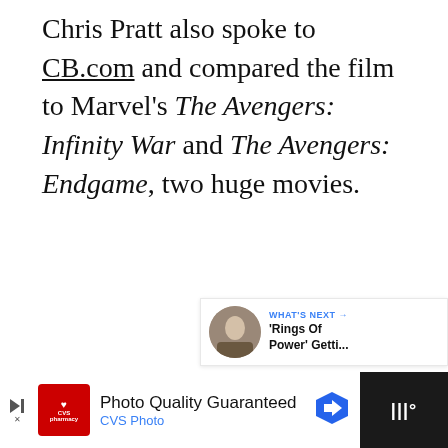Chris Pratt also spoke to CB.com and compared the film to Marvel's The Avengers: Infinity War and The Avengers: Endgame, two huge movies.
[Figure (screenshot): Advertisement banner for Operation Gratitude: 'SAY THANK YOU TO DEPLOYED TROOPS' with eagle logo on the left and patriotic cartoon owl on the right]
[Figure (screenshot): UI elements: heart/like button (blue circle with heart icon), like count '2', share button (white circle with share icon), 'WHAT'S NEXT' card showing thumbnail and 'Rings Of Power' Getti... text]
[Figure (screenshot): Bottom advertisement bar: CVS Photo ad 'Photo Quality Guaranteed / CVS Photo' on white background with dark area on right showing Tubi-style logo]